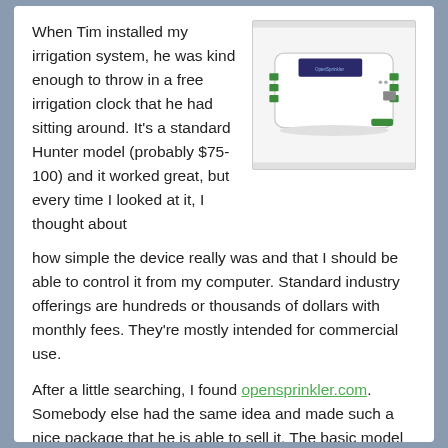When Tim installed my irrigation system, he was kind enough to throw in a free irrigation clock that he had sitting around. It's a standard Hunter model (probably $75-100) and it worked great, but every time I looked at it, I thought about how simple the device really was and that I should be able to control it from my computer. Standard industry offerings are hundreds or thousands of dollars with monthly fees. They're mostly intended for commercial use.
[Figure (photo): Photo of a white OpenSprinkler irrigation controller device with a small LCD screen on top, green terminal connectors on the sides, and an ethernet port, sitting on a white background.]
After a little searching, I found opensprinkler.com. Somebody else had the same idea and made such a nice package that he is able to sell it. The basic model is Arduino based but there are Raspberry Pi and Beagle Bone versions too. I chose the standard model for $155.